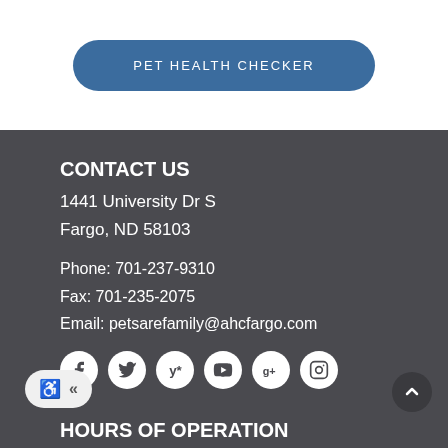PET HEALTH CHECKER
CONTACT US
1441 University Dr S
Fargo, ND 58103
Phone: 701-237-9310
Fax: 701-235-2075
Email: petsarefamily@ahcfargo.com
[Figure (infographic): Social media icon circles: Facebook, Twitter, Yelp, YouTube, Google+, Instagram]
[Figure (infographic): Accessibility widget with wheelchair icon and chevron, and a back-to-top circle button]
HOURS OF OPERATION